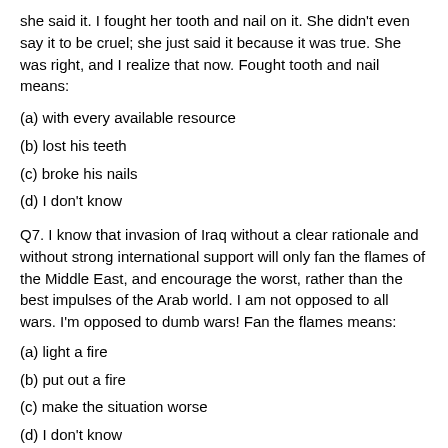she said it. I fought her tooth and nail on it. She didn't even say it to be cruel; she just said it because it was true. She was right, and I realize that now. Fought tooth and nail means:
(a) with every available resource
(b) lost his teeth
(c) broke his nails
(d) I don't know
Q7. I know that invasion of Iraq without a clear rationale and without strong international support will only fan the flames of the Middle East, and encourage the worst, rather than the best impulses of the Arab world. I am not opposed to all wars. I'm opposed to dumb wars! Fan the flames means:
(a) light a fire
(b) put out a fire
(c) make the situation worse
(d) I don't know